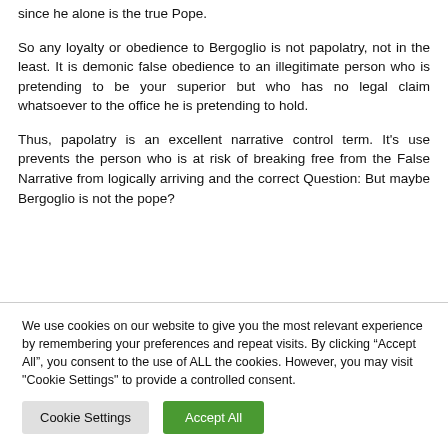since he alone is the true Pope.
So any loyalty or obedience to Bergoglio is not papolatry, not in the least. It is demonic false obedience to an illegitimate person who is pretending to be your superior but who has no legal claim whatsoever to the office he is pretending to hold.
Thus, papolatry is an excellent narrative control term. It’s use prevents the person who is at risk of breaking free from the False Narrative from logically arriving and the correct Question: But maybe Bergoglio is not the pope?
We use cookies on our website to give you the most relevant experience by remembering your preferences and repeat visits. By clicking “Accept All”, you consent to the use of ALL the cookies. However, you may visit "Cookie Settings" to provide a controlled consent.